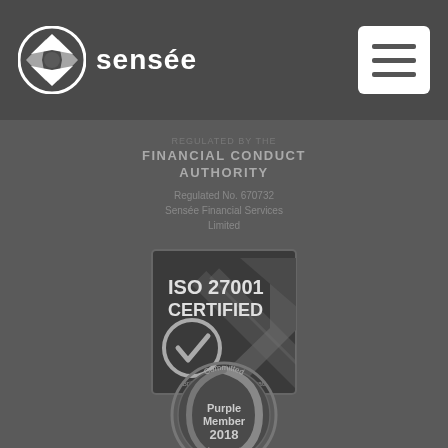[Figure (logo): Sensée company logo — white diamond/arrow icon in circle on dark header bar, with 'sensée' text in white]
[Figure (logo): Hamburger menu icon — white square button with three horizontal lines]
REGULATED BY THE FINANCIAL CONDUCT AUTHORITY
Regulated No. 670732
Sensée Financial Services Limited
[Figure (other): ISO 27001 CERTIFIED badge from British Assessment Bureau — square badge with checkmark and striped V-shape logo]
[Figure (other): Committed to Disability — Purple Member 2018 circular badge with leaf/hand motif]